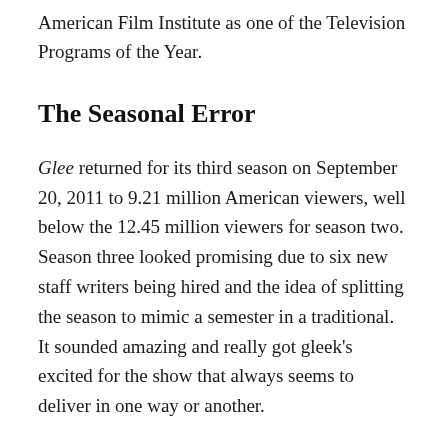American Film Institute as one of the Television Programs of the Year.
The Seasonal Error
Glee returned for its third season on September 20, 2011 to 9.21 million American viewers, well below the 12.45 million viewers for season two. Season three looked promising due to six new staff writers being hired and the idea of splitting the season to mimic a semester in a traditional. It sounded amazing and really got gleek's excited for the show that always seems to deliver in one way or another.